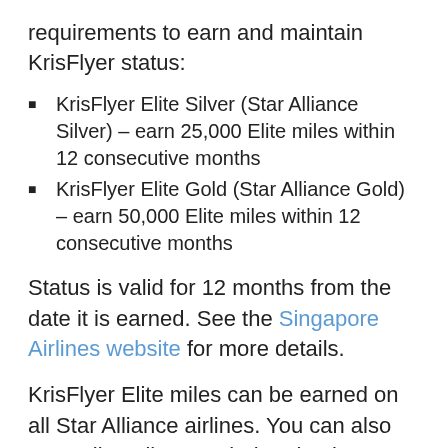requirements to earn and maintain KrisFlyer status:
KrisFlyer Elite Silver (Star Alliance Silver) – earn 25,000 Elite miles within 12 consecutive months
KrisFlyer Elite Gold (Star Alliance Gold) – earn 50,000 Elite miles within 12 consecutive months
Status is valid for 12 months from the date it is earned. See the Singapore Airlines website for more details.
KrisFlyer Elite miles can be earned on all Star Alliance airlines. You can also earn Elite miles on Virgin Atlantic (excluding trans-Atlantic flights), as well as codeshare flights operated by Virgin Australia or Vistara. But the big catch for Australians is that you can't earn